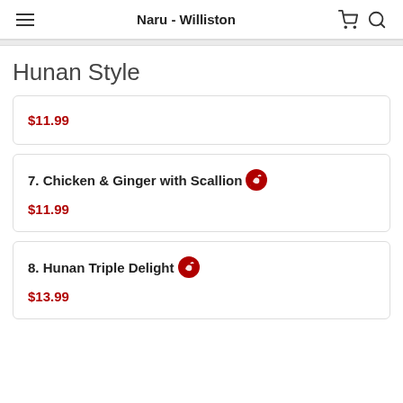Naru - Williston
Hunan Style
$11.99
7. Chicken & Ginger with Scallion — $11.99
8. Hunan Triple Delight — $13.99